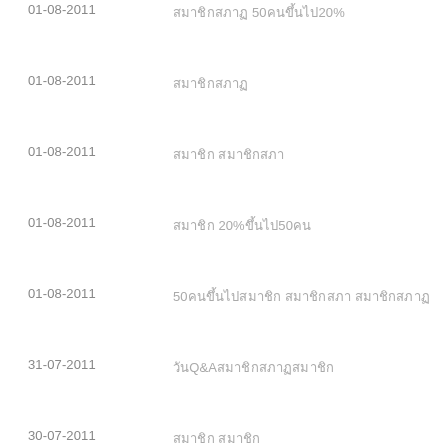01-08-2011  สมาชิกสภาฯ 50คนขึ้นไป20%
01-08-2011  สมาชิกสภาฯ
01-08-2011  สมาชิก สมาชิกสภา
01-08-2011  สมาชิก 20%ขึ้นไป50คน
01-08-2011  50คนขึ้นไปสมาชิก สมาชิกสภา สมาชิกสภาฯ
31-07-2011  วันQ&Aสมาชิกสภาฯสมาชิก
30-07-2011  สมาชิก สมาชิก